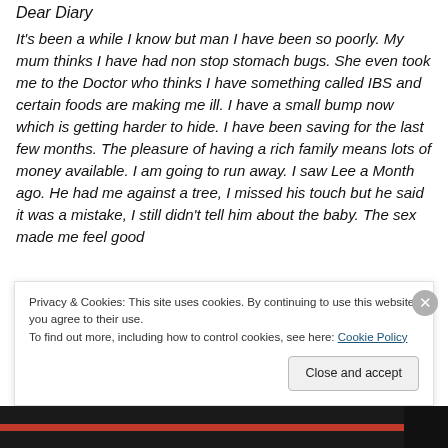Dear Diary
It's been a while I know but man I have been so poorly. My mum thinks I have had non stop stomach bugs. She even took me to the Doctor who thinks I have something called IBS and certain foods are making me ill. I have a small bump now which is getting harder to hide. I have been saving for the last few months. The pleasure of having a rich family means lots of money available. I am going to run away. I saw Lee a Month ago. He had me against a tree, I missed his touch but he said it was a mistake, I still didn't tell him about the baby. The sex made me feel good
Privacy & Cookies: This site uses cookies. By continuing to use this website, you agree to their use.
To find out more, including how to control cookies, see here: Cookie Policy
Close and accept